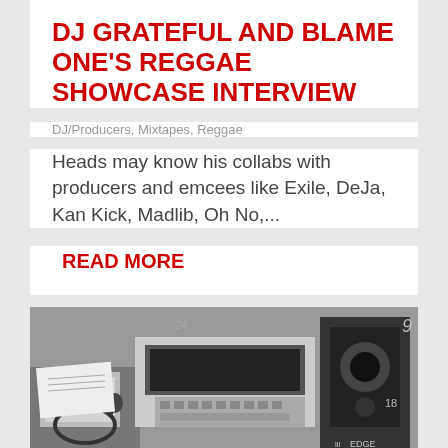DJ GRATEFUL AND BLAME ONE'S REGGAE SHOWCASE INTERVIEW
DJ/Producers, Mixtapes, Reggae
Heads may know his collabs with producers and emcees like Exile, DeJa, Kan Kick, Madlib, Oh No,...
READ MORE
[Figure (photo): Black and white photograph of a DJ setup with turntables, equipment, papers and monitors in a studio or booth setting]